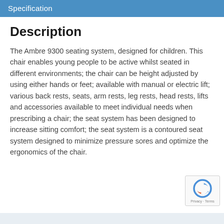Specification
Description
The Ambre 9300 seating system, designed for children. This chair enables young people to be active whilst seated in different environments; the chair can be height adjusted by using either hands or feet; available with manual or electric lift; various back rests, seats, arm rests, leg rests, head rests, lifts and accessories available to meet individual needs when prescribing a chair; the seat system has been designed to increase sitting comfort; the seat system is a contoured seat system designed to minimize pressure sores and optimize the ergonomics of the chair.